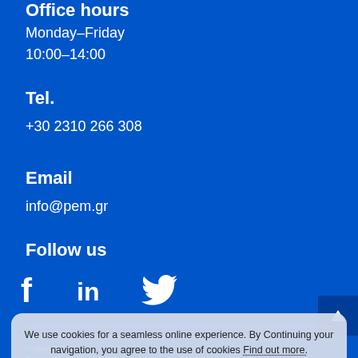Office hours
Monday–Friday
10:00–14:00
Tel.
+30 2310 266 308
Email
info@pem.gr
Follow us
[Figure (illustration): Social media icons: Facebook, LinkedIn, Twitter]
©2022 Panhellenic Association of Translators | Terms of Use | Privacy Policy | Cookies Policy
Design: Ch. Tsolendis |Oxhouse | Development: litamedia
We use cookies for a seamless online experience. By Continuing your navigation, you agree to the use of cookies Find out more.
Accept